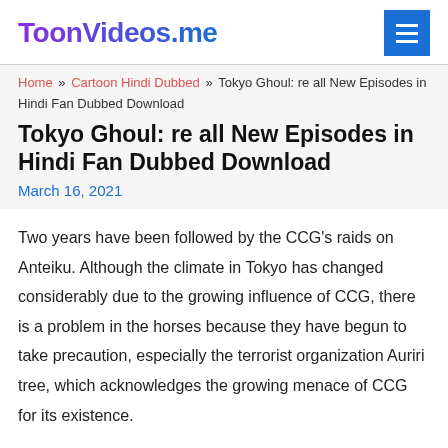ToonVideos.me
Home » Cartoon Hindi Dubbed » Tokyo Ghoul: re all New Episodes in Hindi Fan Dubbed Download
Tokyo Ghoul: re all New Episodes in Hindi Fan Dubbed Download
March 16, 2021
Two years have been followed by the CCG's raids on Anteiku. Although the climate in Tokyo has changed considerably due to the growing influence of CCG, there is a problem in the horses because they have begun to take precaution, especially the terrorist organization Auriri tree, which acknowledges the growing menace of CCG for its existence.